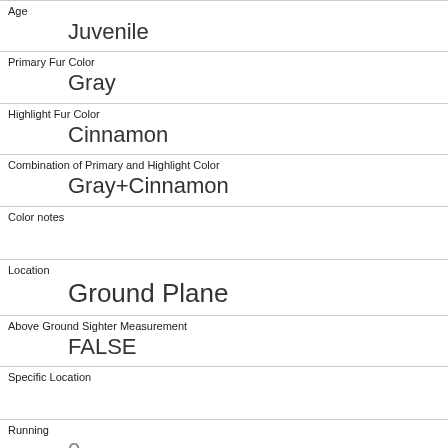| Field | Value |
| --- | --- |
| Age | Juvenile |
| Primary Fur Color | Gray |
| Highlight Fur Color | Cinnamon |
| Combination of Primary and Highlight Color | Gray+Cinnamon |
| Color notes |  |
| Location | Ground Plane |
| Above Ground Sighter Measurement | FALSE |
| Specific Location |  |
| Running | 0 |
| Chasing | 0 |
| Climbing |  |